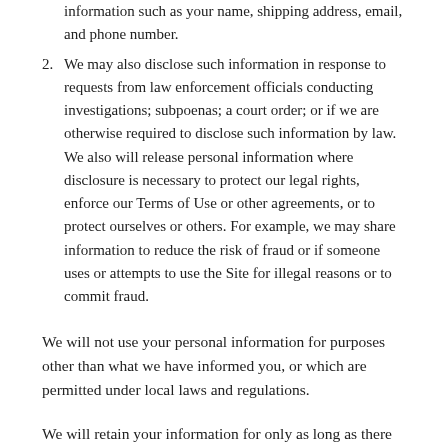information such as your name, shipping address, email, and phone number.
We may also disclose such information in response to requests from law enforcement officials conducting investigations; subpoenas; a court order; or if we are otherwise required to disclose such information by law. We also will release personal information where disclosure is necessary to protect our legal rights, enforce our Terms of Use or other agreements, or to protect ourselves or others. For example, we may share information to reduce the risk of fraud or if someone uses or attempts to use the Site for illegal reasons or to commit fraud.
We will not use your personal information for purposes other than what we have informed you, or which are permitted under local laws and regulations.
We will retain your information for only as long as there is a business or legal need.